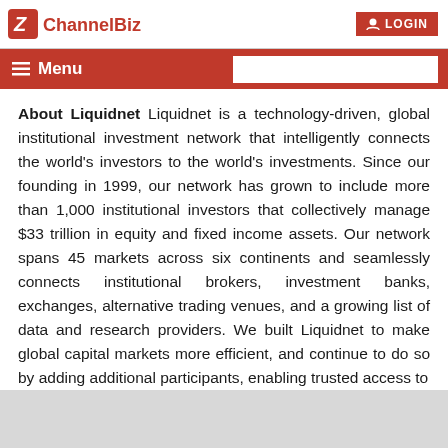[Figure (logo): ChannelBiz logo with red Z icon and red LOGIN button with user icon]
Menu [hamburger icon] [search box]
About Liquidnet Liquidnet is a technology-driven, global institutional investment network that intelligently connects the world's investors to the world's investments. Since our founding in 1999, our network has grown to include more than 1,000 institutional investors that collectively manage $33 trillion in equity and fixed income assets. Our network spans 45 markets across six continents and seamlessly connects institutional brokers, investment banks, exchanges, alternative trading venues, and a growing list of data and research providers. We built Liquidnet to make global capital markets more efficient, and continue to do so by adding additional participants, enabling trusted access to